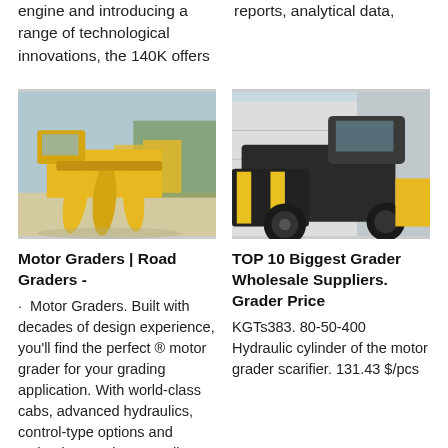engine and introducing a range of technological innovations, the 140K offers
reports, analytical data,
[Figure (photo): Yellow motor grader / road grader machine with large curved tines/forks attachment, parked in a yard with other yellow construction equipment in the background.]
[Figure (photo): Close-up of a large construction wheel loader or grader machine with black and yellow warning-striped attachment, large tires visible, parked near a building structure.]
Motor Graders | Road Graders -
· Motor Graders. Built with decades of design experience, you'll find the perfect ® motor grader for your grading application. With world-class cabs, advanced hydraulics, control-type options and technology options, you'll
TOP 10 Biggest Grader Wholesale Suppliers. Grader Price
KGTs383. 80-50-400 Hydraulic cylinder of the motor grader scarifier. 131.43 $/pcs